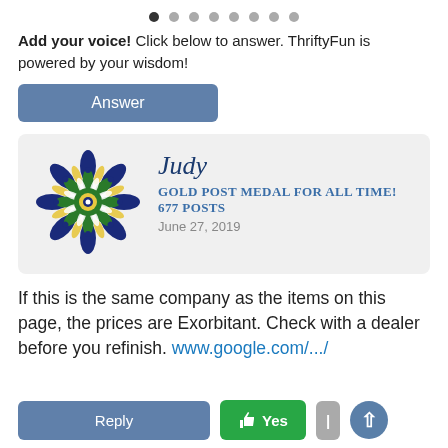[Figure (other): Pagination dots row with first dot active (filled dark) and seven additional light gray dots]
Add your voice! Click below to answer. ThriftyFun is powered by your wisdom!
Answer (button)
[Figure (illustration): User profile card with decorative mandala avatar (navy blue, green, yellow mandala), username 'Judy', 'Gold Post Medal for All Time! 677 Posts', date 'June 27, 2019']
If this is the same company as the items on this page, the prices are Exorbitant. Check with a dealer before you refinish. www.google.com/.../
Reply  Yes  (scroll up button)